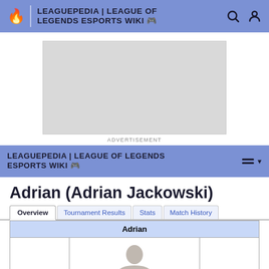LEAGUEPEDIA | LEAGUE OF LEGENDS ESPORTS WIKI
[Figure (other): Advertisement placeholder gray box]
ADVERTISEMENT
LEAGUEPEDIA | LEAGUE OF LEGENDS ESPORTS WIKI
Adrian (Adrian Jackowski)
| Overview | Tournament Results | Stats | Match History |
| --- | --- | --- | --- |
| Adrian |
| --- |
|  |  |  |